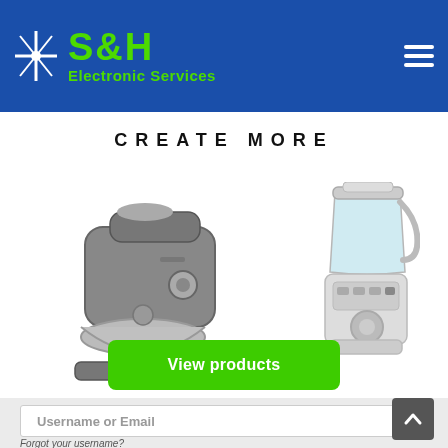[Figure (logo): S&H Electronic Services logo with star icon on blue header background]
CREATE MORE
[Figure (photo): Stand mixer (silver/grey) and blender (white/silver) kitchen appliances]
View products
Username or Email
Forgot your username?